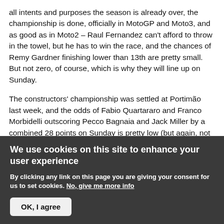all intents and purposes the season is already over, the championship is done, officially in MotoGP and Moto3, and as good as in Moto2 – Raul Fernandez can't afford to throw in the towel, but he has to win the race, and the chances of Remy Gardner finishing lower than 13th are pretty small. But not zero, of course, which is why they will line up on Sunday.
The constructors' championship was settled at Portimão last week, and the odds of Fabio Quartararo and Franco Morbidelli outscoring Pecco Bagnaia and Jack Miller by a combined 28 points on Sunday is pretty low (but again, not zero), which will hand the team title to the
We use cookies on this site to enhance your user experience
By clicking any link on this page you are giving your consent for us to set cookies. No, give me more info